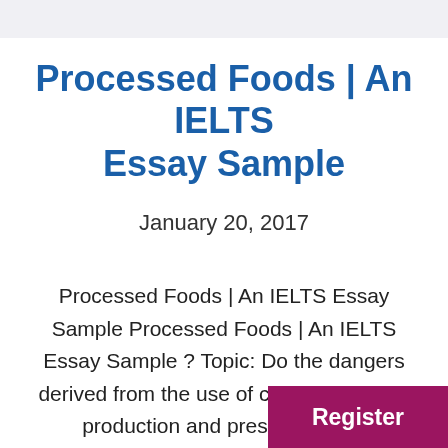Processed Foods | An IELTS Essay Sample
January 20, 2017
Processed Foods | An IELTS Essay Sample Processed Foods | An IELTS Essay Sample ? Topic: Do the dangers derived from the use of chemicals in the production and preservation of processed foods outweigh